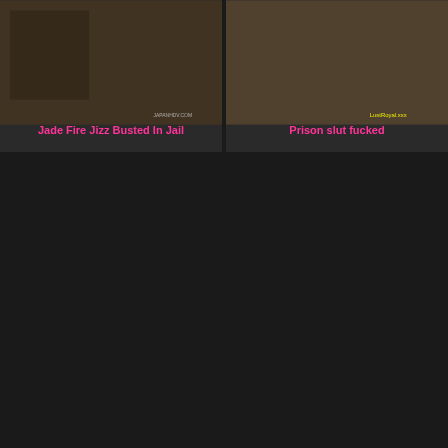[Figure (photo): Video thumbnail showing Japanese police scene]
Duration: 8:00Added: 6 years ago
YouPorn:
[Figure (photo): Video thumbnail showing adult content]
Duration: 14:00Added: 6 years ago
YouPorn:
3D gangbang on prisoner.
[Figure (photo): Gray placeholder thumbnail]
Duration: 15:26Added: 8 years ago
YouPorn: hentai
3D Domination Prison
[Figure (photo): Gray placeholder thumbnail]
Duration: 1:7:07Added: 5 years ago
YouPorn: cartoons
Jade Fire Jizz Busted In Jail
Prison slut fucked